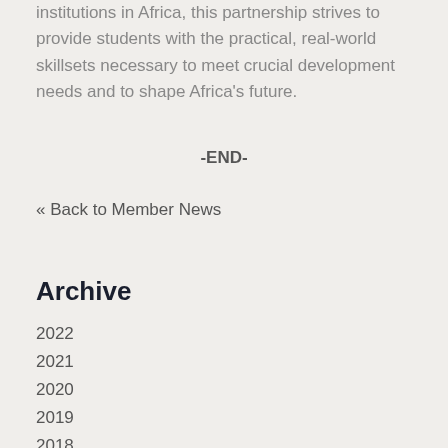institutions in Africa, this partnership strives to provide students with the practical, real-world skillsets necessary to meet crucial development needs and to shape Africa’s future.
-END-
« Back to Member News
Archive
2022
2021
2020
2019
2018
2017